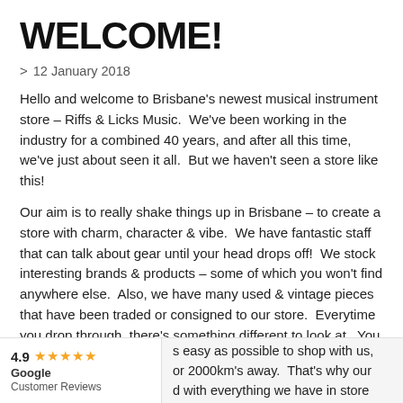WELCOME!
> 12 January 2018
Hello and welcome to Brisbane's newest musical instrument store – Riffs & Licks Music.  We've been working in the industry for a combined 40 years, and after all this time, we've just about seen it all.  But we haven't seen a store like this!
Our aim is to really shake things up in Brisbane – to create a store with charm, character & vibe.  We have fantastic staff that can talk about gear until your head drops off!  We stock interesting brands & products – some of which you won't find anywhere else.  Also, we have many used & vintage pieces that have been traded or consigned to our store.  Everytime you drop through, there's something different to look at.  You won't find a violin or tuba in here – we are just a good old fashioned rock shop!
s easy as possible to shop with us, or 2000km's away.  That's why our d with everything we have in store
[Figure (infographic): Google Customer Reviews widget showing 4.9 star rating with orange stars]